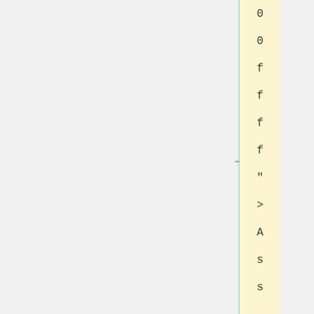[Figure (screenshot): A document/code viewer showing a vertical sidebar with a blue line separator, a yellow highlight column, and code characters displayed vertically: 0, 0, f, f, f, f, ", >, A, s, s, i, s, t, a, n, t, m, a, r, s, h. A small dash marker appears on the left edge of the yellow column.]